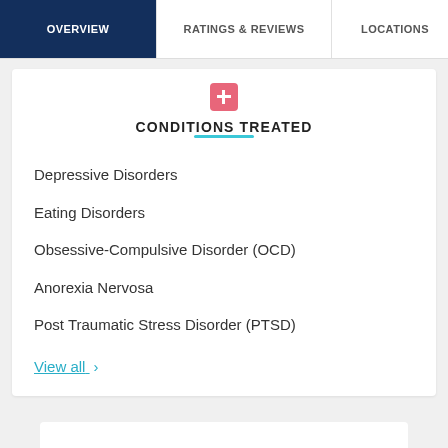OVERVIEW | RATINGS & REVIEWS | LOCATIONS | EX
CONDITIONS TREATED
Depressive Disorders
Eating Disorders
Obsessive-Compulsive Disorder (OCD)
Anorexia Nervosa
Post Traumatic Stress Disorder (PTSD)
View all >